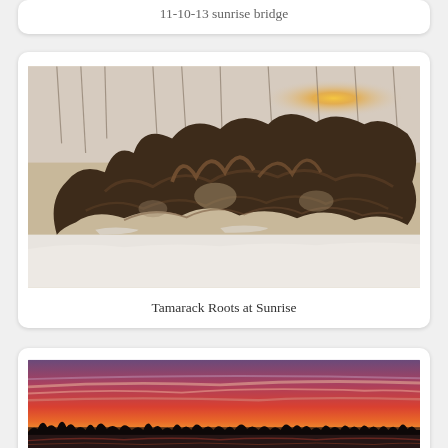11-10-13 sunrise bridge
[Figure (photo): Large tangle of tamarack tree roots with snow on the ground and bare winter trees in background, sun visible through the trees]
Tamarack Roots at Sunrise
[Figure (photo): Wide panoramic view of a vibrant red and pink sunset over a dark landscape with bare trees silhouetted against the sky and water in the foreground]